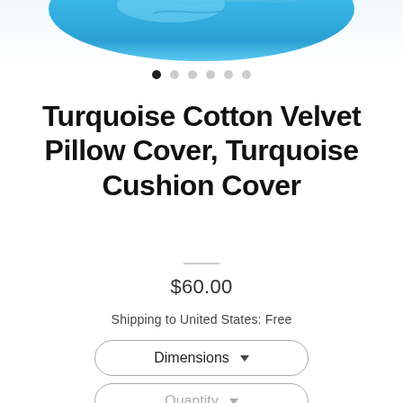[Figure (photo): Turquoise/teal cotton velvet pillow partially visible at top of page]
• ○ ○ ○ ○ ○ (image carousel dots, first dot active)
Turquoise Cotton Velvet Pillow Cover, Turquoise Cushion Cover
$60.00
Shipping to United States: Free
Dimensions ▼
Quantity ▼